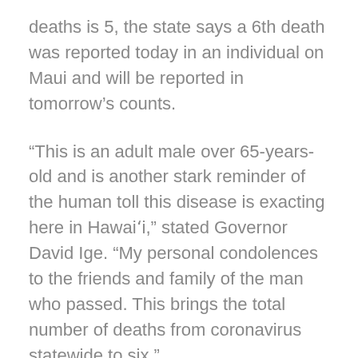deaths is 5, the state says a 6th death was reported today in an individual on Maui and will be reported in tomorrow's counts.
“This is an adult male over 65-years-old and is another stark reminder of the human toll this disease is exacting here in Hawaiʻi,” stated Governor David Ige. “My personal condolences to the friends and family of the man who passed. This brings the total number of deaths from coronavirus statewide to six.”
The state's count shows an increase of 3 cases identified on Hawaiʻi Island, bringing the total to